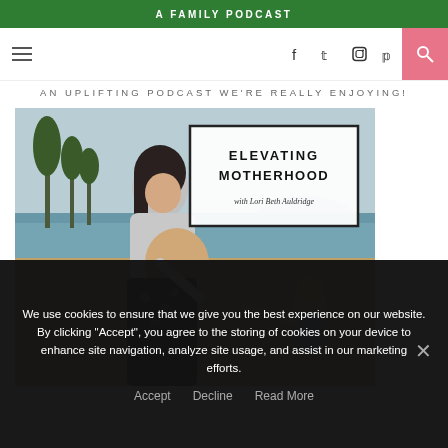A FAMILY PODCAST
[Figure (screenshot): Navigation bar with hamburger menu on left, social icons (f, Twitter bird, Instagram camera, Pinterest P) in center-right, and pink search button on far right]
AN UPLIFTING PODCAST WE'RE REALLY ENJOYING!
[Figure (photo): Podcast cover image showing a pregnant woman on a beach with a child reaching out to her. Overlay text box reads 'ELEVATING MOTHERHOOD with Lori Beth Auldridge']
We use cookies to ensure that we give you the best experience on our website. By clicking “Accept”, you agree to the storing of cookies on your device to enhance site navigation, analyze site usage, and assist in our marketing efforts.
Accept
Decline
Read More